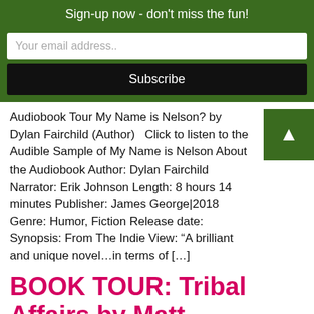Sign-up now - don't miss the fun!
Your email address..
Subscribe
Audiobook Tour My Name is Nelson? by Dylan Fairchild (Author)   Click to listen to the Audible Sample of My Name is Nelson About the Audiobook Author: Dylan Fairchild Narrator: Erik Johnson Length: 8 hours 14 minutes Publisher: James George|2018 Genre: Humor, Fiction Release date: Synopsis: From The Indie View: “A brilliant and unique novel…in terms of […]
BOOK TOUR: Tribal Affairs by Matt Dallmann
Virtual Book Tour: Tribal Affairs by Matt Dallmann Book Description: Dahlia, a centuries old genie, lies hopelessly